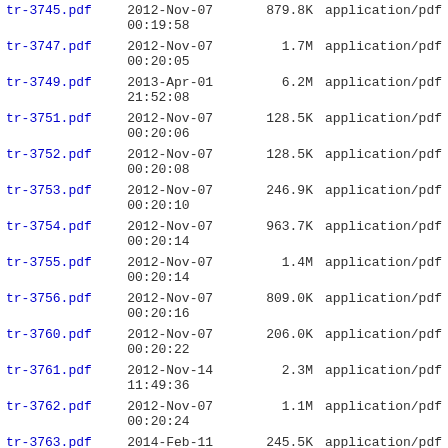| Name | Date | Size | Type |
| --- | --- | --- | --- |
| tr-3745.pdf | 2012-Nov-07 00:19:58 | 879.8K | application/pdf |
| tr-3747.pdf | 2012-Nov-07 00:20:05 | 1.7M | application/pdf |
| tr-3749.pdf | 2013-Apr-01 21:52:08 | 6.2M | application/pdf |
| tr-3751.pdf | 2012-Nov-07 00:20:06 | 128.5K | application/pdf |
| tr-3752.pdf | 2012-Nov-07 00:20:08 | 128.5K | application/pdf |
| tr-3753.pdf | 2012-Nov-07 00:20:10 | 246.9K | application/pdf |
| tr-3754.pdf | 2012-Nov-07 00:20:14 | 963.7K | application/pdf |
| tr-3755.pdf | 2012-Nov-07 00:20:14 | 1.4M | application/pdf |
| tr-3756.pdf | 2012-Nov-07 00:20:16 | 809.0K | application/pdf |
| tr-3760.pdf | 2012-Nov-07 00:20:22 | 206.0K | application/pdf |
| tr-3761.pdf | 2012-Nov-14 11:49:36 | 2.3M | application/pdf |
| tr-3762.pdf | 2012-Nov-07 00:20:24 | 1.1M | application/pdf |
| tr-3763.pdf | 2014-Feb-11 22:43:03 | 245.5K | application/pdf |
| tr-3765.pdf | 2012-Nov-07 00:20:26 | 396.1K | application/pdf |
| tr-3766.pdf | 2012-Nov-07 00:20:28 | 52.8K | application/pdf |
| tr-3767.pdf | 2012-Nov-07 00:20:28 | 1.5M | application/pdf |